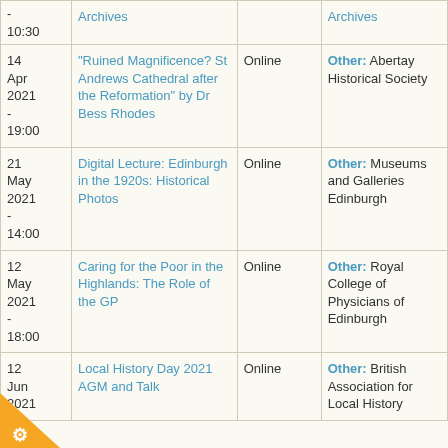| Date | Event | Location | Organiser |
| --- | --- | --- | --- |
| -
10:30 | Archives |  | Archives |
| 14 Apr 2021
-
19:00 | "Ruined Magnificence? St Andrews Cathedral after the Reformation" by Dr Bess Rhodes | Online | Other: Abertay Historical Society |
| 21 May 2021
-
14:00 | Digital Lecture: Edinburgh in the 1920s: Historical Photos | Online | Other: Museums and Galleries Edinburgh |
| 12 May 2021
-
18:00 | Caring for the Poor in the Highlands: The Role of the GP | Online | Other: Royal College of Physicians of Edinburgh |
| 12 Jun 2021 | Local History Day 2021 AGM and Talk... | Online | Other: British Association for Local History |